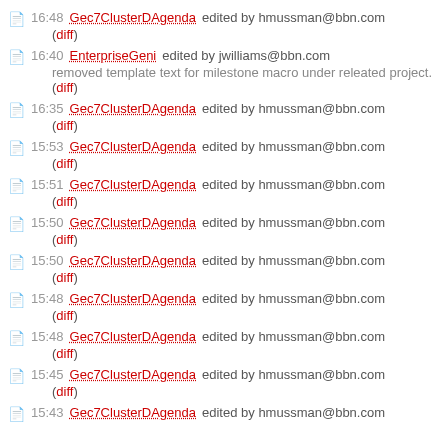16:48 Gec7ClusterDAgenda edited by hmussman@bbn.com (diff)
16:40 EnterpriseGeni edited by jwilliams@bbn.com removed template text for milestone macro under releated project. (diff)
16:35 Gec7ClusterDAgenda edited by hmussman@bbn.com (diff)
15:53 Gec7ClusterDAgenda edited by hmussman@bbn.com (diff)
15:51 Gec7ClusterDAgenda edited by hmussman@bbn.com (diff)
15:50 Gec7ClusterDAgenda edited by hmussman@bbn.com (diff)
15:50 Gec7ClusterDAgenda edited by hmussman@bbn.com (diff)
15:48 Gec7ClusterDAgenda edited by hmussman@bbn.com (diff)
15:48 Gec7ClusterDAgenda edited by hmussman@bbn.com (diff)
15:45 Gec7ClusterDAgenda edited by hmussman@bbn.com (diff)
15:43 Gec7ClusterDAgenda edited by hmussman@bbn.com